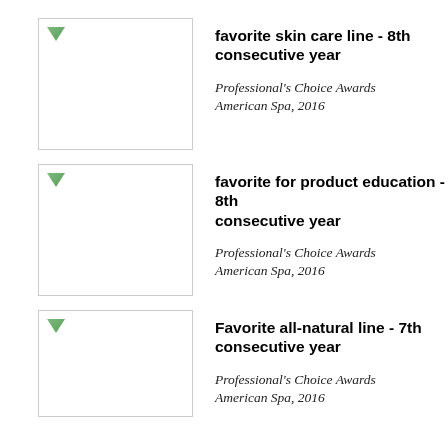[Figure (photo): Award image placeholder 1 - favorite skin care line]
favorite skin care line - 8th consecutive year
Professional's Choice Awards American Spa, 2016
[Figure (photo): Award image placeholder 2 - favorite for product education]
favorite for product education - 8th consecutive year
Professional's Choice Awards American Spa, 2016
[Figure (photo): Award image placeholder 3 - Favorite all-natural line]
Favorite all-natural line - 7th consecutive year
Professional's Choice Awards American Spa, 2016